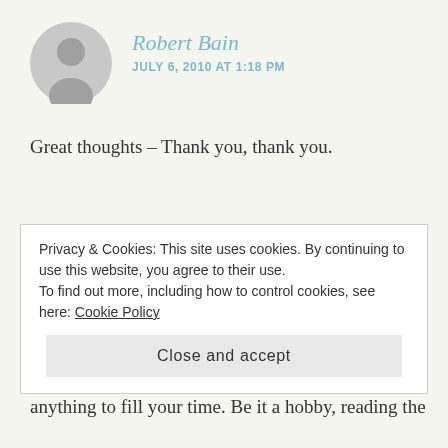Robert Bain
JULY 6, 2010 AT 1:18 PM
Great thoughts – Thank you, thank you.
Like
REPLY
natinanorton
JULY 6, 2010 AT 1:47 PM
Privacy & Cookies: This site uses cookies. By continuing to use this website, you agree to their use.
To find out more, including how to control cookies, see here: Cookie Policy
Close and accept
anything to fill your time. Be it a hobby, reading the